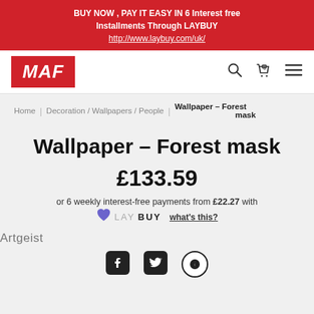BUY NOW , PAY IT EASY IN 6 Interest free Installments Through LAYBUY http://www.laybuy.com/uk/
[Figure (logo): MAF logo in red box with white italic bold text]
Home / Decoration / Wallpapers / People / Wallpaper - Forest mask
Wallpaper - Forest mask
£133.59
or 6 weekly interest-free payments from £22.27 with LAYBUY what's this?
Artgeist
[Figure (infographic): Social media share icons: Facebook, Twitter, Pinterest]